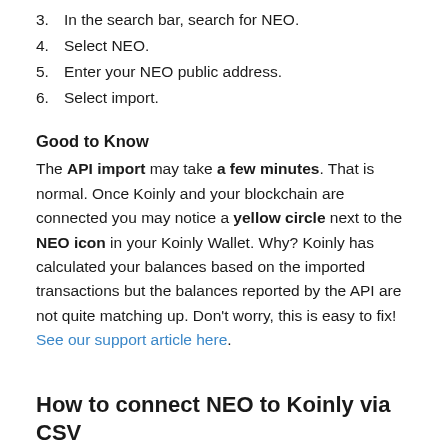3. In the search bar, search for NEO.
4. Select NEO.
5. Enter your NEO public address.
6. Select import.
Good to Know
The API import may take a few minutes. That is normal. Once Koinly and your blockchain are connected you may notice a yellow circle next to the NEO icon in your Koinly Wallet. Why? Koinly has calculated your balances based on the imported transactions but the balances reported by the API are not quite matching up. Don't worry, this is easy to fix! See our support article here.
How to connect NEO to Koinly via CSV